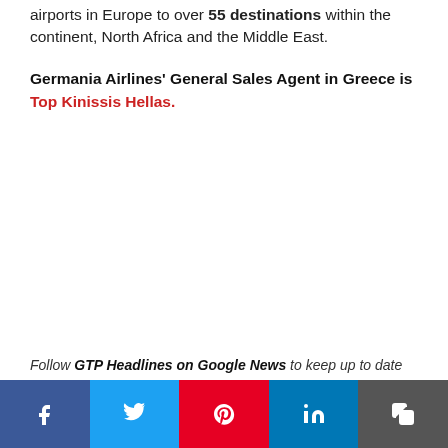airports in Europe to over 55 destinations within the continent, North Africa and the Middle East.
Germania Airlines' General Sales Agent in Greece is Top Kinissis Hellas.
Follow GTP Headlines on Google News to keep up to date
[Figure (infographic): Social media share bar with Facebook, Twitter, Pinterest, LinkedIn, and Copy buttons]